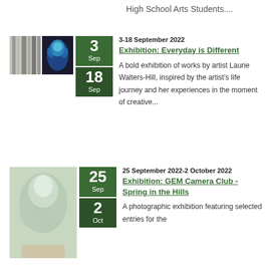High School Arts Students....
3-18 September 2022
Exhibition: Everyday is Different
A bold exhibition of works by artist Laurie Walters-Hill, inspired by the artist's life journey and her experiences in the moment of creative...
25 September 2022-2 October 2022
Exhibition: GEM Camera Club - Spring in the Hills
A photographic exhibition featuring selected entries for the